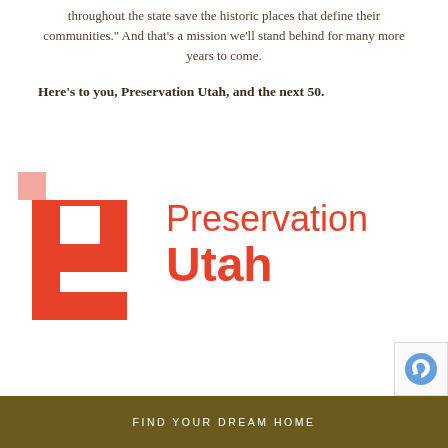throughout the state save the historic places that define their communities." And that's a mission we'll stand behind for many more years to come.
Here's to you, Preservation Utah, and the next 50.
[Figure (logo): Preservation Utah logo: red geometric P-shaped icon with pink accent square, alongside the text 'Preservation Utah' in red, with 'Utah' in bold.]
FIND YOUR DREAM HOME